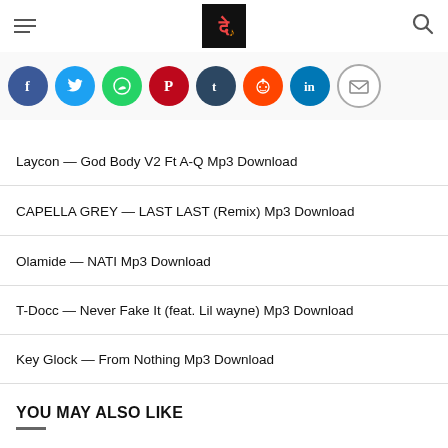[site logo and navigation]
[Figure (infographic): Row of social media share buttons: Facebook, Twitter, WhatsApp, Pinterest, Tumblr, Reddit, LinkedIn, Email]
Laycon — God Body V2 Ft A-Q Mp3 Download
CAPELLA GREY — LAST LAST (Remix) Mp3 Download
Olamide — NATI Mp3 Download
T-Docc — Never Fake It (feat. Lil wayne) Mp3 Download
Key Glock — From Nothing Mp3 Download
YOU MAY ALSO LIKE